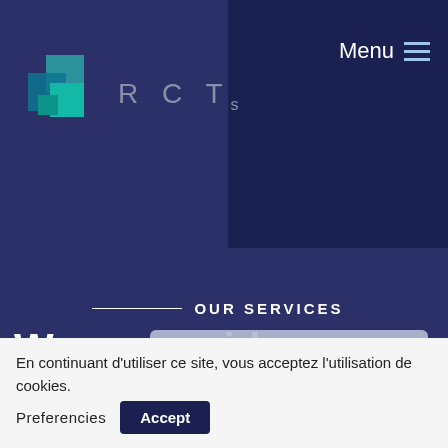RCTs — Menu
OUR SERVICES
We can guide you in all phases of your project
[Figure (screenshot): Browser update dialog: 'Your web browser (iOS 11) is out of date. Update your browser for more security, speed and the best experience on this site.' with a green 'Update browser' button and an 'IGNORE' link below.]
En continuant d'utiliser ce site, vous acceptez l'utilisation de cookies.
Preferencies
Accept